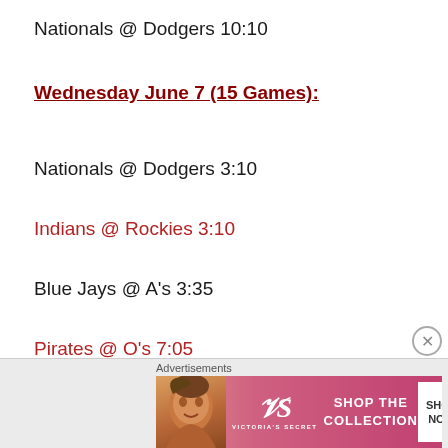Nationals @ Dodgers 10:10
Wednesday June 7 (15 Games):
Nationals @ Dodgers 3:10
Indians @ Rockies 3:10
Blue Jays @ A's 3:35
Pirates @ O's 7:05
Red Sox @ Yankees 7:05
White Sox @ Rays 7:10
[Figure (other): Victoria's Secret advertisement banner with model photo, VS logo, 'SHOP THE COLLECTION' text and 'SHOP NOW' button]
Advertisements